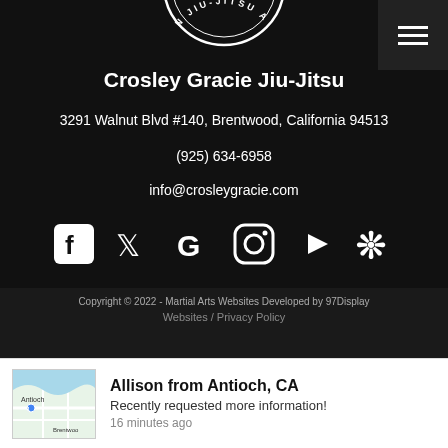[Figure (logo): Partial circular logo with text 'JIU-JITSU' visible at top center, white on black background]
[Figure (other): Hamburger menu icon (three white horizontal lines) on dark gray square background, top right corner]
Crosley Gracie Jiu-Jitsu
3291 Walnut Blvd #140, Brentwood, California 94513
(925) 634-6958
info@crosleygracie.com
[Figure (other): Row of 6 social media icons (white on black): Facebook, Twitter, Google, Instagram, YouTube, Yelp]
Copyright © 2022 - Martial Arts Websites Developed by 97Display Websites / Privacy Policy
[Figure (other): Map thumbnail showing Antioch area]
Allison from Antioch, CA
Recently requested more information!
16 minutes ago